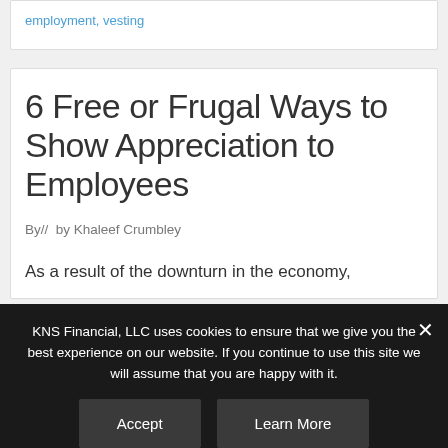employment, vesting
6 Free or Frugal Ways to Show Appreciation to Employees
By//  by Khaleef Crumbley
As a result of the downturn in the economy,
KNS Financial, LLC uses cookies to ensure that we give you the best experience on our website. If you continue to use this site we will assume that you are happy with it.
Accept
Learn More